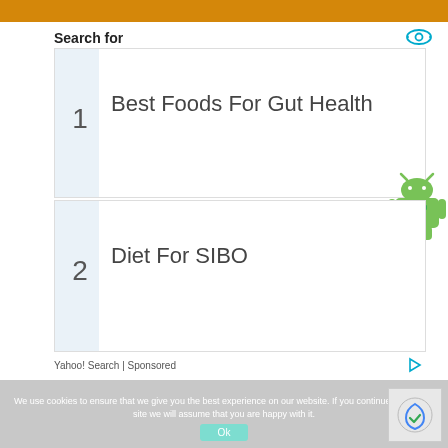Search for
1  Best Foods For Gut Health
2  Diet For SIBO
Yahoo! Search | Sponsored
We use cookies to ensure that we give you the best experience on our website. If you continue to use this site we will assume that you are happy with it.
Ok